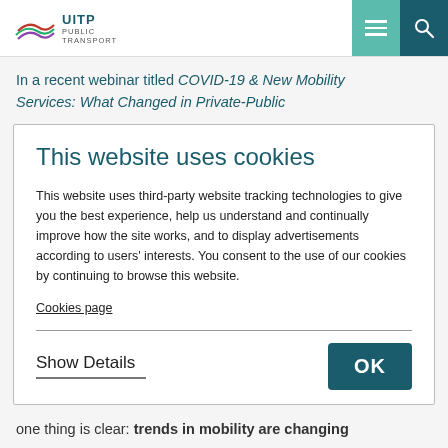UITP PUBLIC TRANSPORT
In a recent webinar titled COVID-19 & New Mobility Services: What Changed in Private-Public
This website uses cookies
This website uses third-party website tracking technologies to give you the best experience, help us understand and continually improve how the site works, and to display advertisements according to users' interests. You consent to the use of our cookies by continuing to browse this website.
Cookies page
Show Details
OK
one thing is clear: trends in mobility are changing